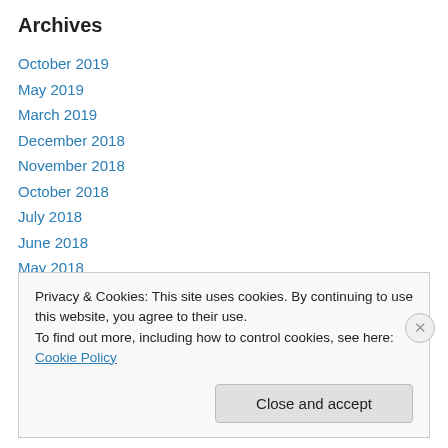Archives
October 2019
May 2019
March 2019
December 2018
November 2018
October 2018
July 2018
June 2018
May 2018
April 2018
March 2018
Privacy & Cookies: This site uses cookies. By continuing to use this website, you agree to their use.
To find out more, including how to control cookies, see here: Cookie Policy
Close and accept